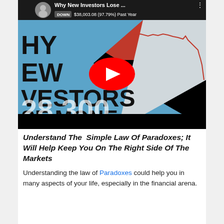[Figure (screenshot): YouTube video thumbnail titled 'Why New Investors Lose...' showing a stock chart with a red line declining sharply, DOWN $38,003.08 (97.79%) Past Year, large text showing 'HY EW VESTORS SE MONE' and '28,300' on a blue background, with a red YouTube play button in the center and a black bar at the bottom.]
Understand The  Simple Law Of Paradoxes; It Will Help Keep You On The Right Side Of The Markets
Understanding the law of Paradoxes could help you in many aspects of your life, especially in the financial arena.